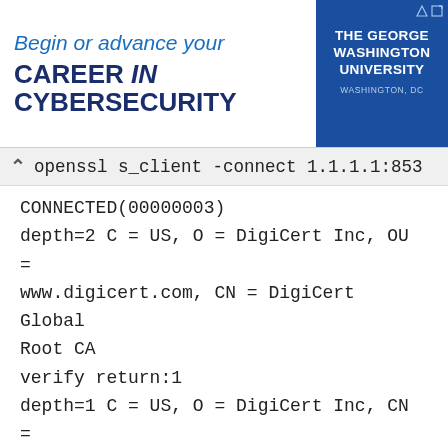[Figure (other): Advertisement banner for The George Washington University Cybersecurity program. Text reads: Begin or advance your CAREER in CYBERSECURITY. The George Washington University, Washington, DC.]
openssl s_client -connect 1.1.1.1:853
CONNECTED(00000003)
depth=2 C = US, O = DigiCert Inc, OU = www.digicert.com, CN = DigiCert Global Root CA
verify return:1
depth=1 C = US, O = DigiCert Inc, CN = DigiCert TLS Hybrid ECC SHA384 2020 CA1
verify return:1
depth=0 C = US, ST = California, L = San Francisco, O = "Cloudflare, Inc.", CN = cloudflare-dns.com